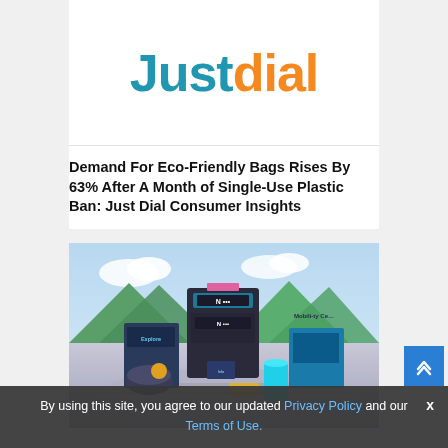[Figure (logo): Justdial logo — 'Just' in blue, 'dial' in orange, large bold sans-serif text]
Demand For Eco-Friendly Bags Rises By 63% After A Month of Single-Use Plastic Ban: Just Dial Consumer Insights
[Figure (illustration): Colorful 3D metaverse-style virtual showroom scene with Hyundai N brand vehicles and signage, Mobility Center text, mountains and sky in background]
By using this site, you agree to our updated Privacy Policy and our Terms of Use.